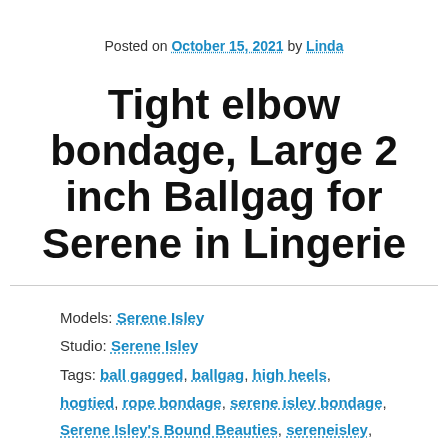Posted on October 15, 2021 by Linda
Tight elbow bondage, Large 2 inch Ballgag for Serene in Lingerie
Models: Serene Isley
Studio: Serene Isley
Tags: ball gagged, ballgag, high heels, hogtied, rope bondage, serene isley bondage, Serene Isley's Bound Beauties, sereneisley, tied
Serene begins this clip already in tight elbow bondage